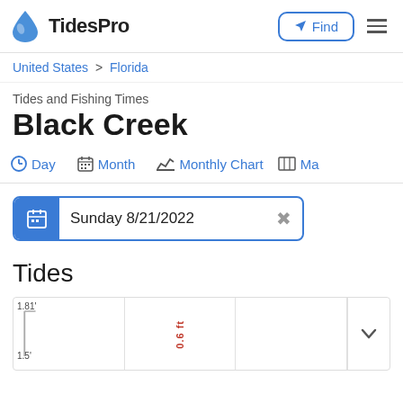TidesPro — Find
United States > Florida
Tides and Fishing Times
Black Creek
Day  Month  Monthly Chart  Ma…
Sunday 8/21/2022
Tides
[Figure (other): Tide chart strip showing 1.81 ft high and 0.6 ft label in red, partial tide curve]